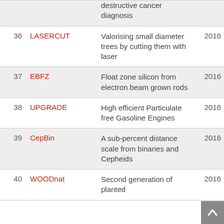| # | Name | Description | Year |
| --- | --- | --- | --- |
|  |  | destructive cancer diagnosis |  |
| 36 | LASERCUT | Valorising small diameter trees by cutting them with laser | 2016 |
| 37 | EBFZ | Float zone silicon from electron beam grown rods | 2016 |
| 38 | UPGRADE | High efficient Particulate free Gasoline Engines | 2016 |
| 39 | CepBin | A sub-percent distance scale from binaries and Cepheids | 2016 |
| 40 | WOODnat | Second generation of planted ... | 2016 |